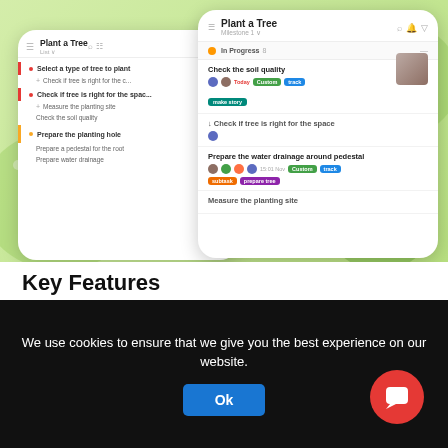[Figure (screenshot): Two mobile phone mockups showing a project management app called 'Plant a Tree'. Left phone shows a task list view. Right phone shows a milestone detail view with task cards, tags, avatars, and an image. Background is light green with decorative shapes.]
Key Features
We use cookies to ensure that we give you the best experience on our website.
Ok